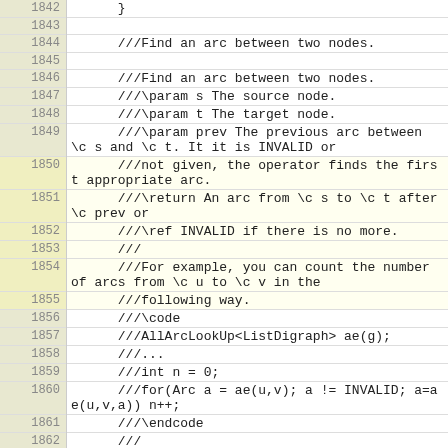[Figure (screenshot): Source code listing with line numbers from 1842 to 1863, showing C++ Doxygen-style comments for a graph arc lookup function.]